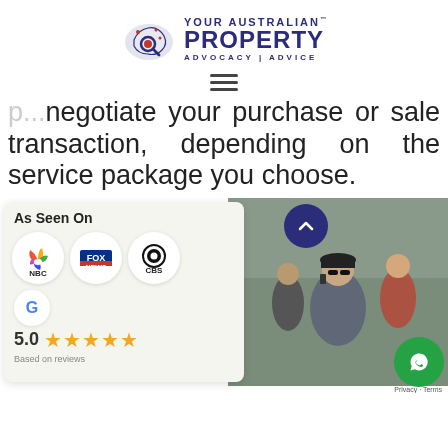[Figure (logo): Your Australian Property logo with map icon and text: YOUR AUSTRALIAN PROPERTY ADVOCACY | ADVICE]
[Figure (other): Hamburger menu icon (three horizontal lines)]
negotiate your purchase or sale transaction, depending on the service package you choose.
[Figure (infographic): As Seen On panel with NBC, Fox News, CBS logos, Google rating 5.0 with five stars]
[Figure (photo): Photo of people outdoors, a man wearing cap and sunglasses talking on phone, others in background]